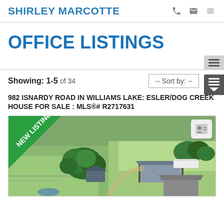SHIRLEY MARCOTTE
OFFICE LISTINGS
Showing: 1-5 of 34
-- Sort by: --
982 ISNARDY ROAD IN WILLIAMS LAKE: ESLER/DOG CREEK HOUSE FOR SALE : MLS®# R2717631
[Figure (photo): Aerial photo of a rural farm property with trees, green fields, and farm buildings including a covered structure and barn. A 'NEW LISTING' green banner is shown in the top-left corner.]